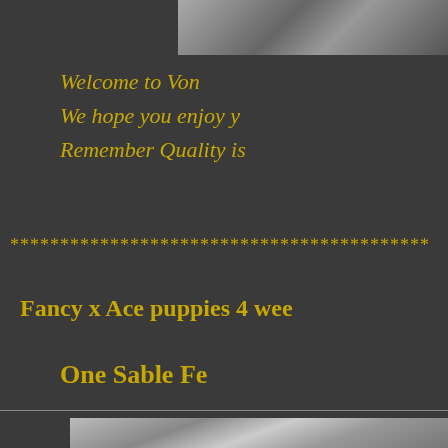[Figure (photo): Partial view of dogs/puppies at top right corner, black and white photo]
Welcome to Von
We hope you enjoy y
Remember Quality is
******************************************
Fancy x Ace puppies 4 wee
One Sable Fe
[Figure (photo): Partial view of puppies at bottom of page]